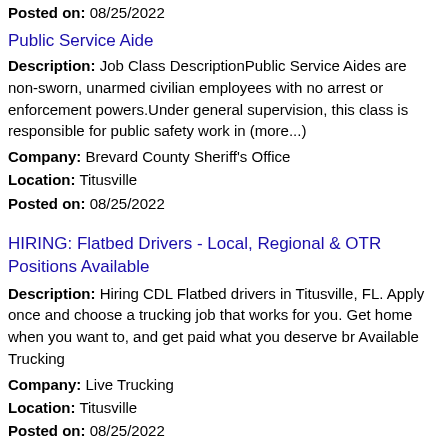Posted on: 08/25/2022
Public Service Aide
Description: Job Class DescriptionPublic Service Aides are non-sworn, unarmed civilian employees with no arrest or enforcement powers.Under general supervision, this class is responsible for public safety work in (more...)
Company: Brevard County Sheriff's Office
Location: Titusville
Posted on: 08/25/2022
HIRING: Flatbed Drivers - Local, Regional & OTR Positions Available
Description: Hiring CDL Flatbed drivers in Titusville, FL. Apply once and choose a trucking job that works for you. Get home when you want to, and get paid what you deserve br Available Trucking
Company: Live Trucking
Location: Titusville
Posted on: 08/25/2022
Vascular Surgery - Florida
Description: Surgery-Vascular opening in Titusville, Florida. This and other physician jobs brought to you by DocCafe br br Coastal Florida Vascular SurgeryAn opportunity that